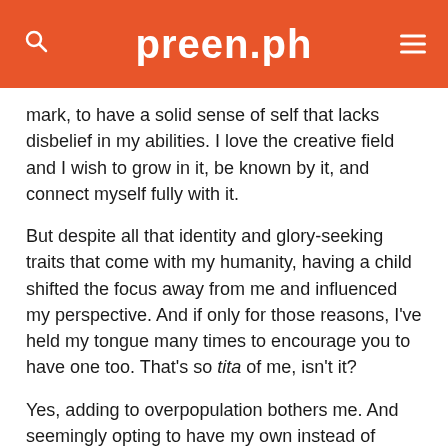preen.ph
mark, to have a solid sense of self that lacks disbelief in my abilities. I love the creative field and I wish to grow in it, be known by it, and connect myself fully with it.
But despite all that identity and glory-seeking traits that come with my humanity, having a child shifted the focus away from me and influenced my perspective. And if only for those reasons, I’ve held my tongue many times to encourage you to have one too. That’s so tita of me, isn’t it?
Yes, adding to overpopulation bothers me. And seemingly opting to have my own instead of adopting one disturbs me extremely. But now that my daughter is here, I focus on molding a soul that can contribute to